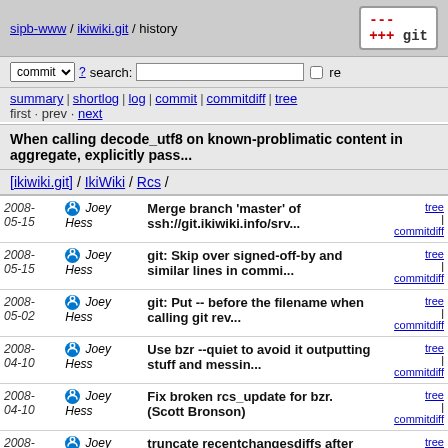sipb-www / ikiwiki.git / history
commit ? search: re
summary | shortlog | log | commit | commitdiff | tree
first · prev · next
When calling decode_utf8 on known-problimatic content in aggregate, explicitly pass...
[ikiwiki.git] / IkiWiki / Rcs /
| Date | Author | Commit message | Links |
| --- | --- | --- | --- |
| 2008-05-15 | Joey Hess | Merge branch 'master' of ssh://git.ikiwiki.info/srv... | tree | commitdiff |
| 2008-05-15 | Joey Hess | git: Skip over signed-off-by and similar lines in commi... | tree | commitdiff |
| 2008-05-02 | Joey Hess | git: Put -- before the filename when calling git rev... | tree | commitdiff |
| 2008-04-10 | Joey Hess | Use bzr --quiet to avoid it outputting stuff and messin... | tree | commitdiff |
| 2008-04-10 | Joey Hess | Fix broken rcs_update for bzr. (Scott Bronson) | tree | commitdiff |
| 2008-03-12 | Joey Hess | truncate recentchangesdiffs after 200 lines | tree | commitdiff |
| 2008-03-12 | Joey Hess | Merge branch 'master' of ssh://git.kitenet.net/srv... | tree | commitdiff |